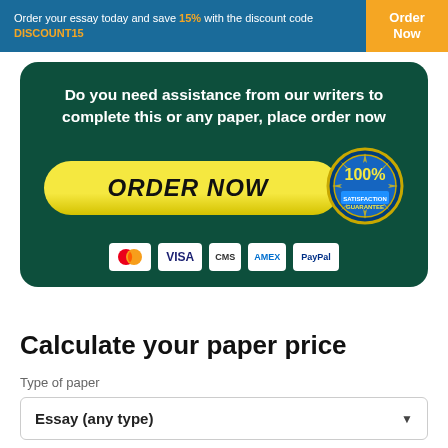Order your essay today and save 15% with the discount code DISCOUNT15
[Figure (infographic): Dark green rounded box with promotional text 'Do you need assistance from our writers to complete this or any paper, place order now', an ORDER NOW yellow button with a 100% satisfaction guarantee badge, and payment icons (Mastercard, Visa, CMS, AMEX, PayPal)]
Calculate your paper price
Type of paper
Essay (any type)